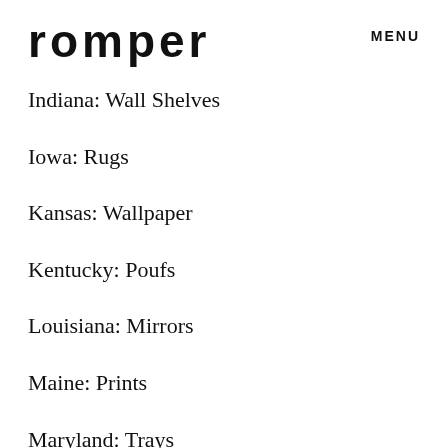romper
MENU
Indiana: Wall Shelves
Iowa: Rugs
Kansas: Wallpaper
Kentucky: Poufs
Louisiana: Mirrors
Maine: Prints
Maryland: Trays